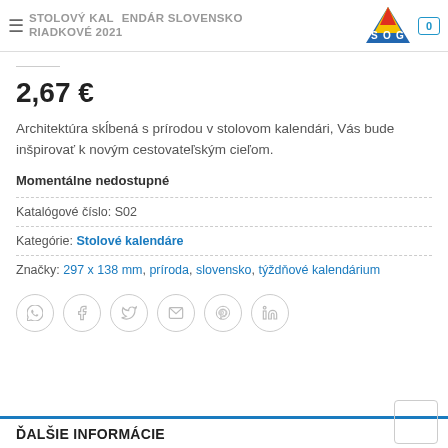STOLOVÝ KALENDÁR SLOVENSKO RIADKOVÉ 2021
2,67 €
Architektúra skĺbená s prírodou v stolovom kalendári, Vás bude inšpirovať k novým cestovateľským cieľom.
Momentálne nedostupné
Katalógové číslo: S02
Kategórie: Stolové kalendáre
Značky: 297 x 138 mm, príroda, slovensko, týždňové kalendárium
[Figure (infographic): Social sharing icons row: WhatsApp, Facebook, Twitter, Email, Pinterest, LinkedIn — all in circular grey outlines]
ĎALŠIE INFORMÁCIE